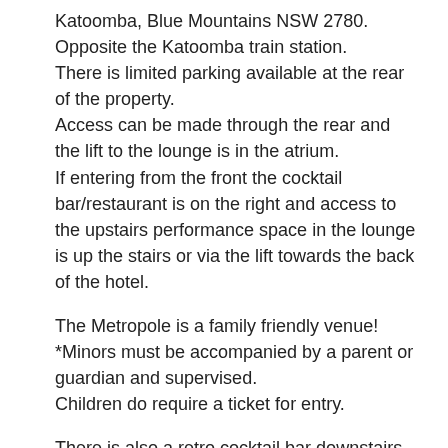Katoomba, Blue Mountains NSW 2780.
Opposite the Katoomba train station.
There is limited parking available at the rear of the property.
Access can be made through the rear and the lift to the lounge is in the atrium.
If entering from the front the cocktail bar/restaurant is on the right and access to the upstairs performance space in the lounge is up the stairs or via the lift towards the back of the hotel.
The Metropole is a family friendly venue!
*Minors must be accompanied by a parent or guardian and supervised.
Children do require a ticket for entry.
There is also a retro cocktail bar downstairs and drinks and light meals will be available from the Metro Retro pop up bar.
Doors Open 5:30pm. Show Starts 6:30pm.